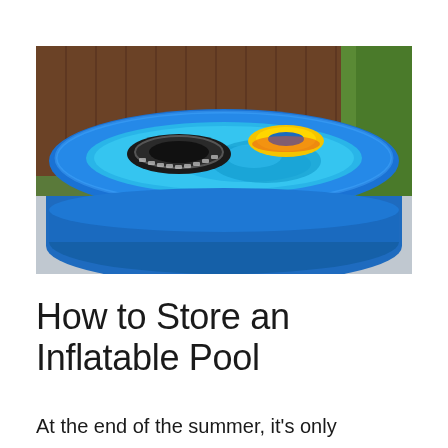[Figure (photo): A large round blue inflatable pool filled with water, with a black tire-shaped float and a yellow ring float inside, set on a patio with a wooden fence and green hedge in the background.]
How to Store an Inflatable Pool
At the end of the summer, it's only